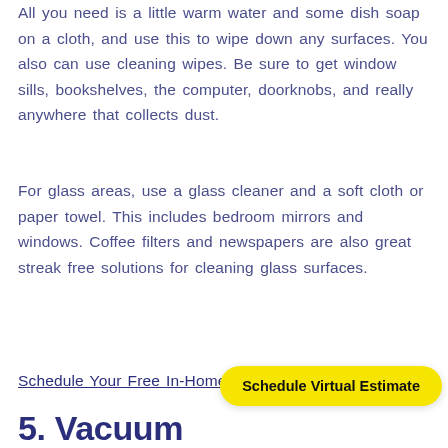All you need is a little warm water and some dish soap on a cloth, and use this to wipe down any surfaces. You also can use cleaning wipes. Be sure to get window sills, bookshelves, the computer, doorknobs, and really anywhere that collects dust.
For glass areas, use a glass cleaner and a soft cloth or paper towel. This includes bedroom mirrors and windows. Coffee filters and newspapers are also great streak free solutions for cleaning glass surfaces.
Schedule Your Free In-Home Estimate
[Figure (other): Yellow pill-shaped button with text 'Schedule Virtual Estimate' in bold black font]
5. Vacuum